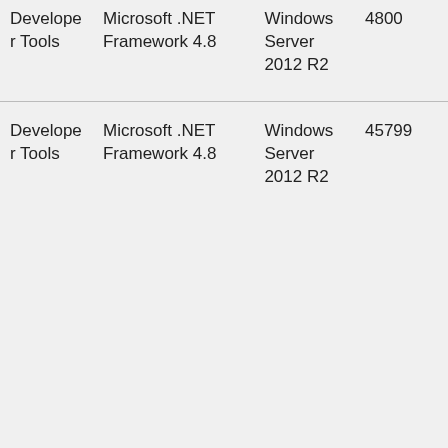| Category | Product | OS | KB |
| --- | --- | --- | --- |
| Developer Tools | Microsoft .NET Framework 4.8 | Windows Server 2012 R2 | 4800... |
| Developer Tools | Microsoft .NET Framework 4.8 | Windows Server 2012 R2 | 45799... |